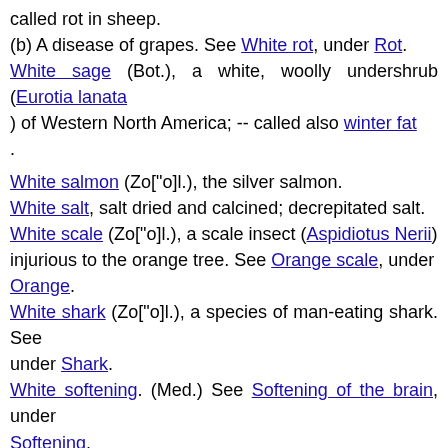called rot in sheep.
(b) A disease of grapes. See White rot, under Rot. White sage (Bot.), a white, woolly undershrub (Eurotia lanata) of Western North America; -- called also winter fat.
White salmon (Zo["o]l.), the silver salmon.
White salt, salt dried and calcined; decrepitated salt.
White scale (Zo["o]l.), a scale insect (Aspidiotus Nerii) injurious to the orange tree. See Orange scale, under Orange.
White shark (Zo["o]l.), a species of man-eating shark. See under Shark.
White softening. (Med.) See Softening of the brain, under Softening.